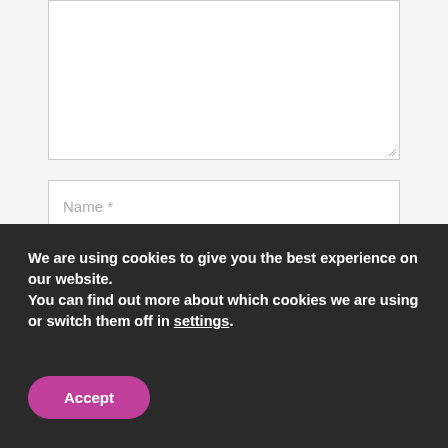[Figure (screenshot): A large empty textarea input box with a resize handle at bottom-right corner, on a light gray background.]
[Figure (screenshot): A text input field with placeholder text 'Name *', white background with gray border.]
[Figure (screenshot): A text input field with placeholder text 'Email *', white background with gray border.]
[Figure (screenshot): A partially visible checkbox row at the bottom of the form area.]
We are using cookies to give you the best experience on our website.
You can find out more about which cookies we are using or switch them off in settings.
[Figure (screenshot): A purple/magenta rounded Accept button on a dark cookie consent banner.]